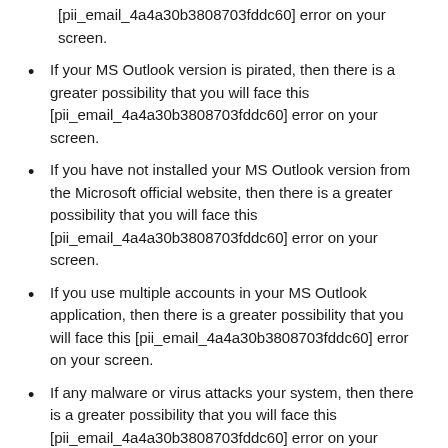[pii_email_4a4a30b3808703fddc60] error on your screen.
If your MS Outlook version is pirated, then there is a greater possibility that you will face this [pii_email_4a4a30b3808703fddc60] error on your screen.
If you have not installed your MS Outlook version from the Microsoft official website, then there is a greater possibility that you will face this [pii_email_4a4a30b3808703fddc60] error on your screen.
If you use multiple accounts in your MS Outlook application, then there is a greater possibility that you will face this [pii_email_4a4a30b3808703fddc60] error on your screen.
If any malware or virus attacks your system, then there is a greater possibility that you will face this [pii_email_4a4a30b3808703fddc60] error on your screen.
If your internet speed is not moderate, then there is a